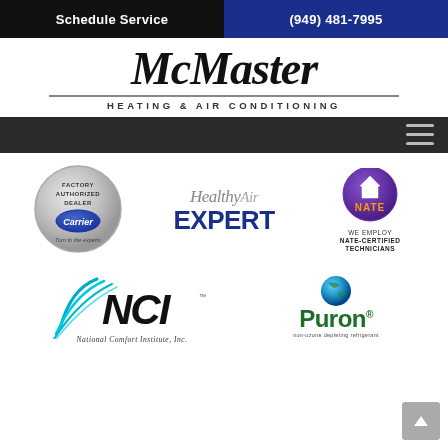Schedule Service | (949) 481-7995
McMaster
HEATING & AIR CONDITIONING
[Figure (logo): Navigation bar with hamburger menu icon]
[Figure (logo): Carrier Factory Authorized Dealer silver badge - Turn to the experts]
[Figure (logo): Healthy Air Expert logo]
[Figure (logo): NATE - We Employ NATE-Certified Technicians badge]
[Figure (logo): NCI National Comfort Institute, Inc. logo]
[Figure (logo): Puron non-ozone depleting refrigerant logo]